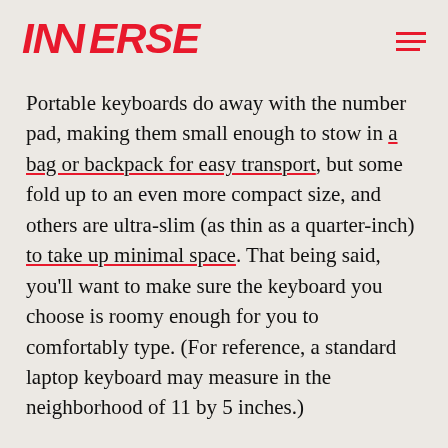INVERSE
Portable keyboards do away with the number pad, making them small enough to stow in a bag or backpack for easy transport, but some fold up to an even more compact size, and others are ultra-slim (as thin as a quarter-inch) to take up minimal space. That being said, you'll want to make sure the keyboard you choose is roomy enough for you to comfortably type. (For reference, a standard laptop keyboard may measure in the neighborhood of 11 by 5 inches.)
As far as power goes, a rechargeable keyboard is more